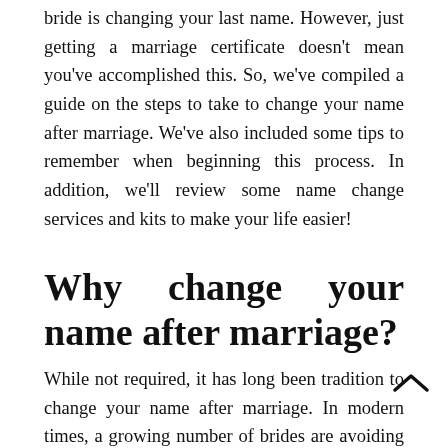bride is changing your last name. However, just getting a marriage certificate doesn't mean you've accomplished this. So, we've compiled a guide on the steps to take to change your name after marriage. We've also included some tips to remember when beginning this process. In addition, we'll review some name change services and kits to make your life easier!
Why change your name after marriage?
While not required, it has long been tradition to change your name after marriage. In modern times, a growing number of brides are avoiding this step. However, if you are a traditionalist, this is the natural next step following the ceremony (and the honeymoon, of course!). It also often makes some logistical and business sense – it can be easier for